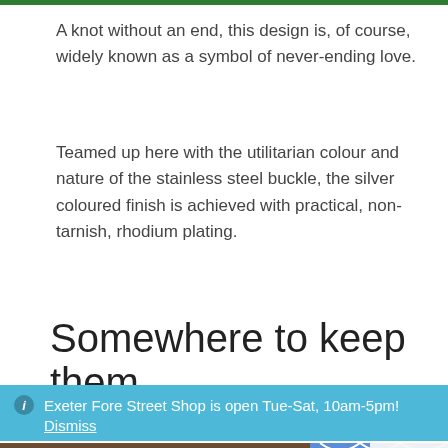A knot without an end, this design is, of course, widely known as a symbol of never-ending love.
Teamed up here with the utilitarian colour and nature of the stainless steel buckle, the silver coloured finish is achieved with practical, non-tarnish, rhodium plating.
Somewhere to keep them
Exeter Fore Street Shop is open Tue-Sat, 10am-5pm!
Dismiss
[Figure (photo): Partial view of a brown leather item and a blue patterned decorative item, likely a box or tray.]